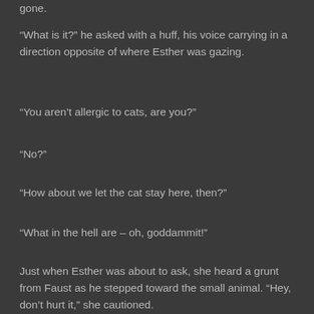gone.
“What is it?” he asked with a huff, his voice carrying in a direction opposite of where Esther was gazing.
“You aren’t allergic to cats, are you?”
“No?”
“How about we let the cat stay here, then?”
“What in the hell are – oh, goddammit!”
Just when Esther was about to ask, she heard a grunt from Faust as he stepped toward the small animal. “Hey, don’t hurt it,” she cautioned.